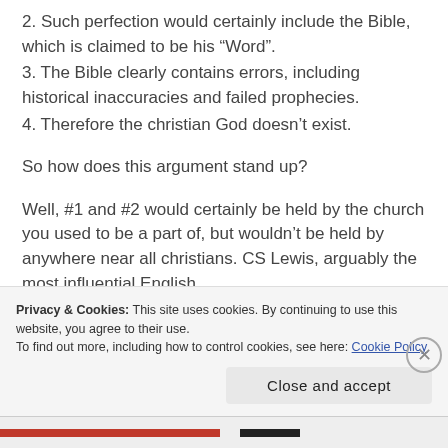2. Such perfection would certainly include the Bible, which is claimed to be his “Word”.
3. The Bible clearly contains errors, including historical inaccuracies and failed prophecies.
4. Therefore the christian God doesn’t exist.
So how does this argument stand up?
Well, #1 and #2 would certainly be held by the church you used to be a part of, but wouldn’t be held by anywhere near all christians. CS Lewis, arguably the most influential English
Privacy & Cookies: This site uses cookies. By continuing to use this website, you agree to their use.
To find out more, including how to control cookies, see here: Cookie Policy
Close and accept